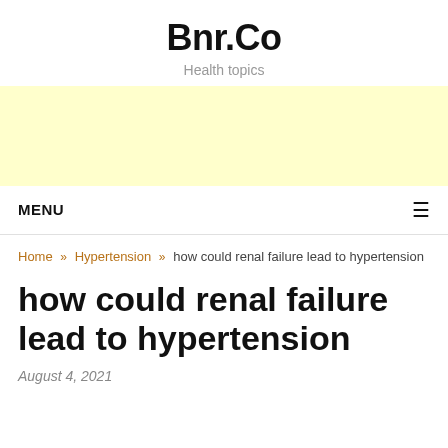Bnr.Co
Health topics
[Figure (other): Yellow advertisement banner placeholder]
MENU ≡
Home » Hypertension » how could renal failure lead to hypertension
how could renal failure lead to hypertension
August 4, 2021